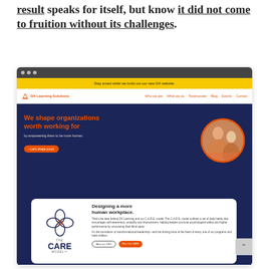result speaks for itself, but know it did not come to fruition without its challenges.
[Figure (screenshot): Screenshot of the DX Learning Solutions website showing: yellow announcement banner, white navigation bar with logo and links (Who we are, What we do, Testimonials, Blog, Events, Contact), dark navy hero section with orange heading 'We shape organizations worth working for', subtext 'by empowering them to be more human.', orange CTA button 'Let's shape yours', a circular photo of people collaborating, and a white card section showing 'The CARE Model' logo and text about 'Designing a more human workplace.' with two buttons: 'Meet our CEO' and 'Dive into CARE'.]